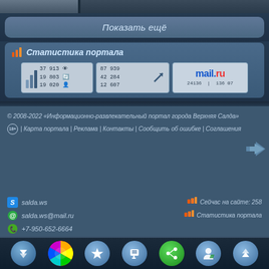[Figure (screenshot): Top strip with partial photo thumbnails]
Показать ещё
Статистика портала
[Figure (infographic): Three statistics widgets: counter widget showing 37913/19803/19020, traffic widget showing 87939/42284/12607, and mail.ru widget showing 24136|13607]
© 2008-2022 «Информационно-развлекательный портал города Верхняя Салда»
18+ | Карта портала | Реклама | Контакты | Сообщить об ошибке | Соглашения
salda.ws
salda.ws@mail.ru
+7-950-652-6664
Сейчас на сайте: 258
Статистика портала
[Figure (screenshot): Bottom toolbar with navigation buttons: down arrow, color wheel, star, edit/pencil, share, user, up arrow]